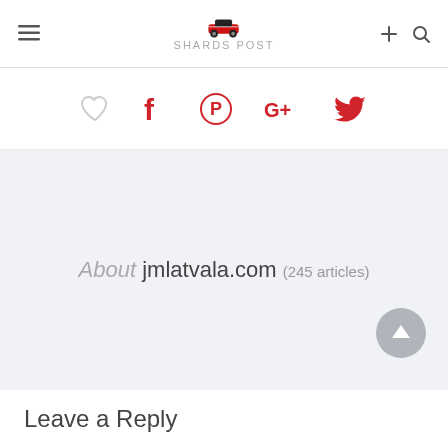SHARDS POST
[Figure (screenshot): Social sharing icons row: heart (like), Facebook f, Pinterest P, Google+, Twitter bird — all in red except heart outline in gray]
About jmlatvala.com (245 articles)
Leave a Reply